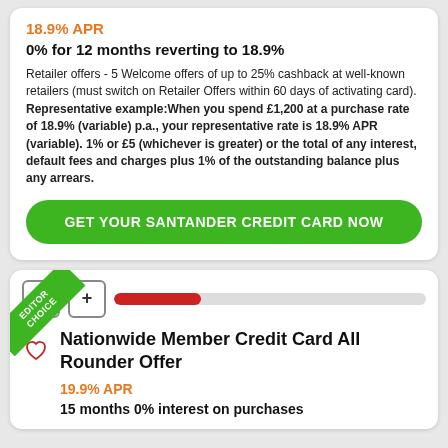18.9% APR
0% for 12 months reverting to 18.9%
Retailer offers - 5 Welcome offers of up to 25% cashback at well-known retailers (must switch on Retailer Offers within 60 days of activating card). Representative example:When you spend £1,200 at a purchase rate of 18.9% (variable) p.a., your representative rate is 18.9% APR (variable). 1% or £5 (whichever is greater) or the total of any interest, default fees and charges plus 1% of the outstanding balance plus any arrears.
GET YOUR SANTANDER CREDIT CARD NOW
[Figure (infographic): Editor Choice green corner badge on second card]
Nationwide Member Credit Card All Rounder Offer
19.9% APR
15 months 0% interest on purchases